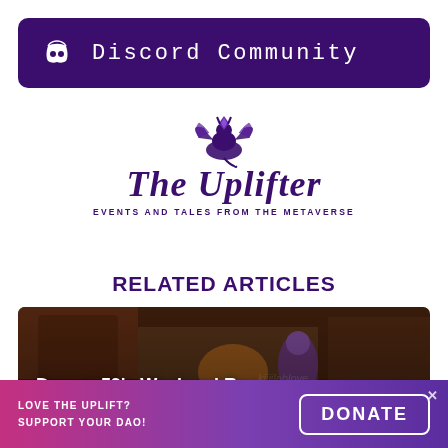[Figure (screenshot): Discord Community banner with purple background and Discord logo icon and text 'Discord Community']
[Figure (logo): The Uplifter logo — a dragon/gargoyle mascot above blackletter Gothic text 'The Uplifter' with subtitle 'EVENTS AND TALES FROM THE METAVERSE']
RELATED ARTICLES
[Figure (photo): Dark metaverse scene thumbnail with text overlay 'Devona59's Weekend Recap']
LOVE THE UPLIFT? SUPPORT YOUR DAO!
DONATE